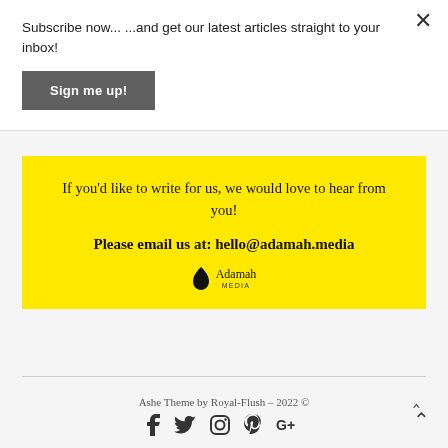Subscribe now... ...and get our latest articles straight to your inbox!
Sign me up!
If you'd like to write for us, we would love to hear from you!
Please email us at: hello@adamah.media
[Figure (logo): Adamah Media logo with stylized flame/leaf icon and text 'Adamah MEDIA']
Ashe Theme by Royal-Flush - 2022 ©
[Figure (infographic): Social media icons: Facebook, Twitter, Instagram, Pinterest, Google+]